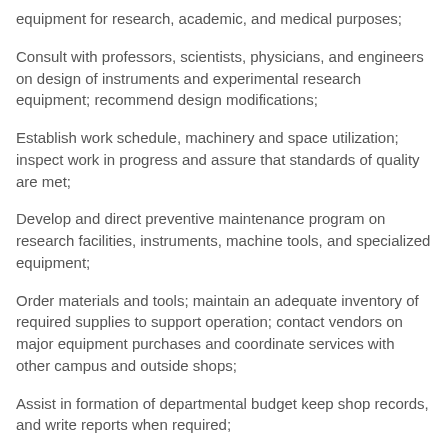equipment for research, academic, and medical purposes;
Consult with professors, scientists, physicians, and engineers on design of instruments and experimental research equipment; recommend design modifications;
Establish work schedule, machinery and space utilization; inspect work in progress and assure that standards of quality are met;
Develop and direct preventive maintenance program on research facilities, instruments, machine tools, and specialized equipment;
Order materials and tools; maintain an adequate inventory of required supplies to support operation; contact vendors on major equipment purchases and coordinate services with other campus and outside shops;
Assist in formation of departmental budget keep shop records, and write reports when required;
Enforce safety rules and maintain control of shop and laboratory activities according to established procedures;